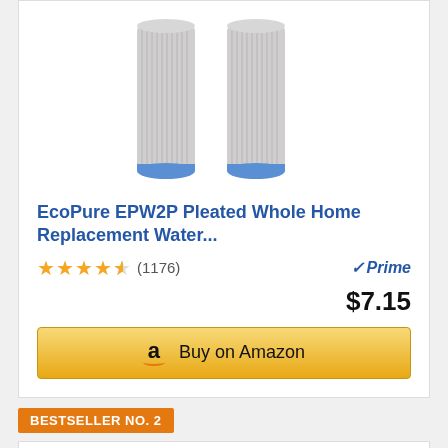[Figure (photo): Two white pleated cylindrical water filter cartridges with blue end caps, shown against a white background]
EcoPure EPW2P Pleated Whole Home Replacement Water...
★★★★½ (1176) Prime $7.15
Buy on Amazon
BESTSELLER NO. 2
[Figure (photo): Two grey wound-string cylindrical water filter cartridges shown against a white background]